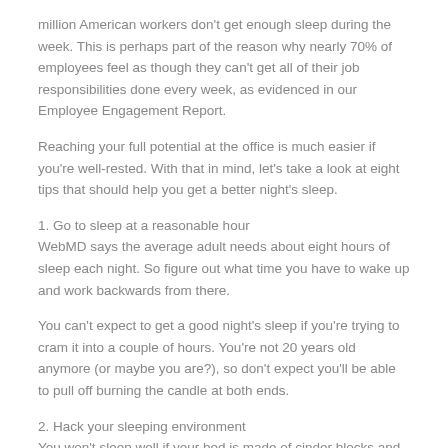million American workers don't get enough sleep during the week. This is perhaps part of the reason why nearly 70% of employees feel as though they can't get all of their job responsibilities done every week, as evidenced in our Employee Engagement Report.
Reaching your full potential at the office is much easier if you're well-rested. With that in mind, let's take a look at eight tips that should help you get a better night's sleep.
1. Go to sleep at a reasonable hour
WebMD says the average adult needs about eight hours of sleep each night. So figure out what time you have to wake up and work backwards from there.
You can't expect to get a good night's sleep if you're trying to cram it into a couple of hours. You're not 20 years old anymore (or maybe you are?), so don't expect you'll be able to pull off burning the candle at both ends.
2. Hack your sleeping environment
You won't sleep well if your bed is made of cinder blocks and your face is illuminated by neon lights the entire night.